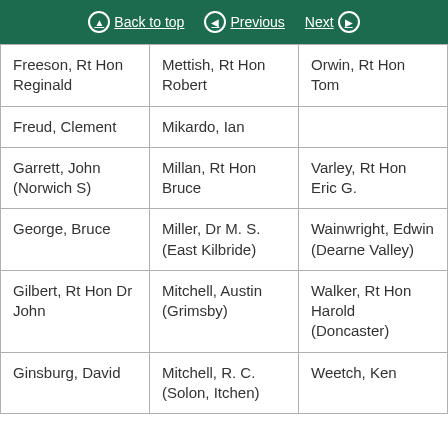Back to top | Previous | Next
| Freeson, Rt Hon Reginald | Mettish, Rt Hon Robert | Orwin, Rt Hon Tom |
| Freud, Clement | Mikardo, Ian |  |
| Garrett, John (Norwich S) | Millan, Rt Hon Bruce | Varley, Rt Hon Eric G. |
| George, Bruce | Miller, Dr M. S. (East Kilbride) | Wainwright, Edwin (Dearne Valley) |
| Gilbert, Rt Hon Dr John | Mitchell, Austin (Grimsby) | Walker, Rt Hon Harold (Doncaster) |
| Ginsburg, David | Mitchell, R. C. (Solon, Itchen) | Weetch, Ken |